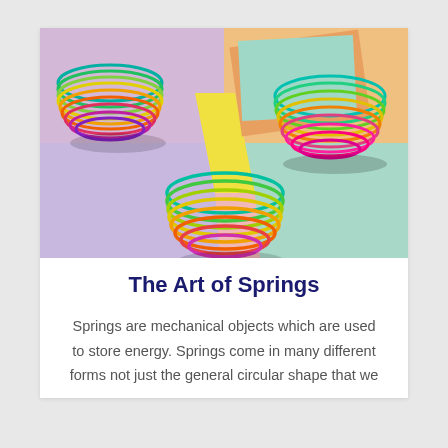[Figure (photo): Three colorful metallic slinky springs arranged on pastel colored paper backgrounds in pink, lavender, orange, yellow, and mint green colors. The springs display rainbow gradient colors and are photographed from above at an angle.]
The Art of Springs
Springs are mechanical objects which are used to store energy. Springs come in many different forms not just the general circular shape that we